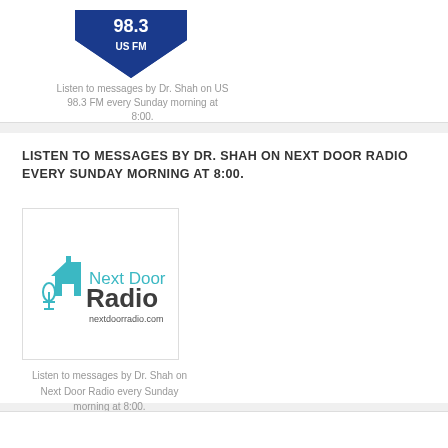[Figure (logo): Partial logo (bottom visible) - US 98.3 FM shield logo in dark blue]
Listen to messages by Dr. Shah on US 98.3 FM every Sunday morning at 8:00.
LISTEN TO MESSAGES BY DR. SHAH ON NEXT DOOR RADIO EVERY SUNDAY MORNING AT 8:00.
[Figure (logo): Next Door Radio logo with house icon, microphone, text 'Next Door Radio' and 'nextdoorradio.com']
Listen to messages by Dr. Shah on Next Door Radio every Sunday morning at 8:00.